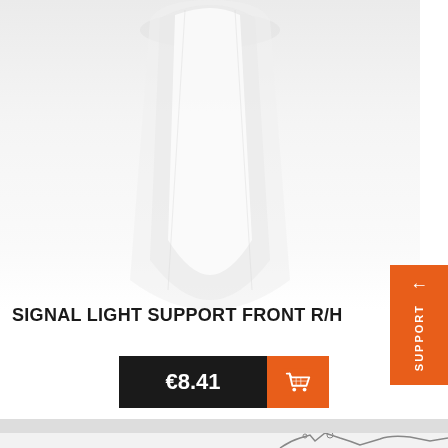[Figure (photo): Product image area showing a white lamp or light component shape against a light grey background]
SIGNAL LIGHT SUPPORT FRONT R/H
€8.41
[Figure (illustration): Technical line drawing illustration of mechanical parts at the bottom of the page]